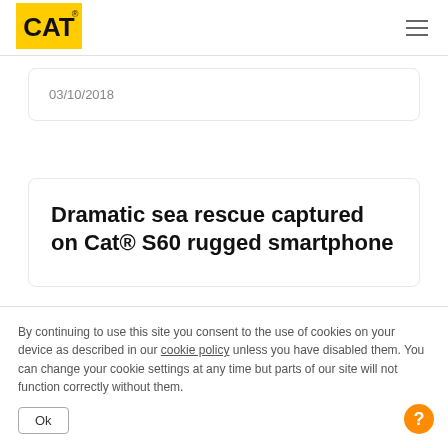[Figure (logo): CAT yellow logo with black text]
03/10/2018
Dramatic sea rescue captured on Cat® S60 rugged smartphone
By continuing to use this site you consent to the use of cookies on your device as described in our cookie policy unless you have disabled them. You can change your cookie settings at any time but parts of our site will not function correctly without them.
Ok